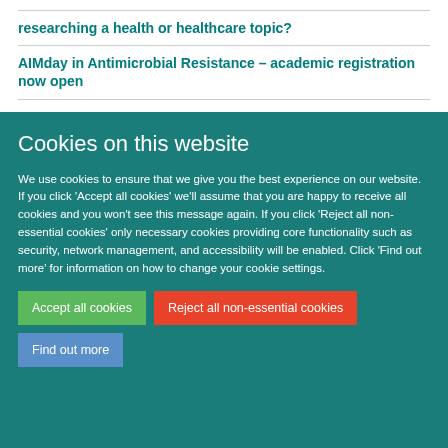researching a health or healthcare topic?
AIMday in Antimicrobial Resistance – academic registration now open
Cookies on this website
We use cookies to ensure that we give you the best experience on our website. If you click 'Accept all cookies' we'll assume that you are happy to receive all cookies and you won't see this message again. If you click 'Reject all non-essential cookies' only necessary cookies providing core functionality such as security, network management, and accessibility will be enabled. Click 'Find out more' for information on how to change your cookie settings.
Accept all cookies
Reject all non-essential cookies
Find out more